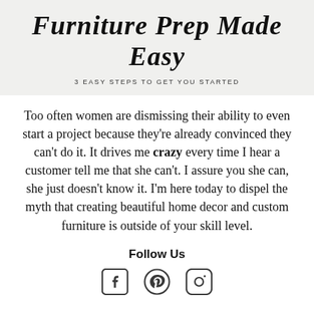Furniture Prep Made Easy
3 EASY STEPS TO GET YOU STARTED
Too often women are dismissing their ability to even start a project because they're already convinced they can't do it. It drives me crazy every time I hear a customer tell me that she can't. I assure you she can, she just doesn't know it. I'm here today to dispel the myth that creating beautiful home decor and custom furniture is outside of your skill level.
Follow Us
[Figure (illustration): Social media icons: Facebook, Pinterest, Instagram]